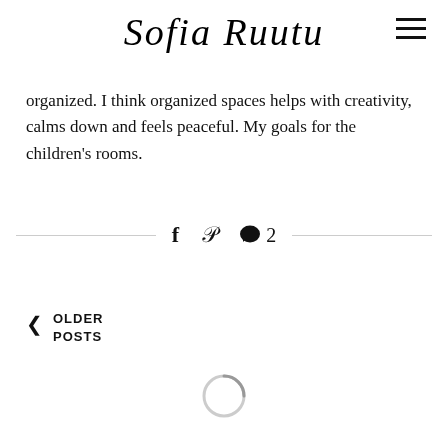Sofia Ruutu
organized. I think organized spaces helps with creativity, calms down and feels peaceful. My goals for the children’s rooms.
f  p  💬 2
‹ OLDER POSTS
[Figure (other): Loading spinner (circular arc indicator)]